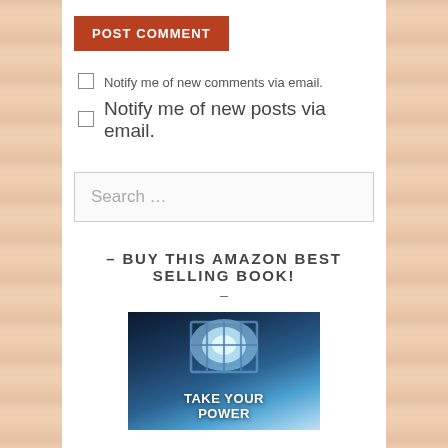POST COMMENT
Notify me of new comments via email.
Notify me of new posts via email.
Search …
– BUY THIS AMAZON BEST SELLING BOOK!
–
[Figure (photo): Book cover for 'TAKE YOUR POWER' showing a dark room with barred window and bright light shining through]